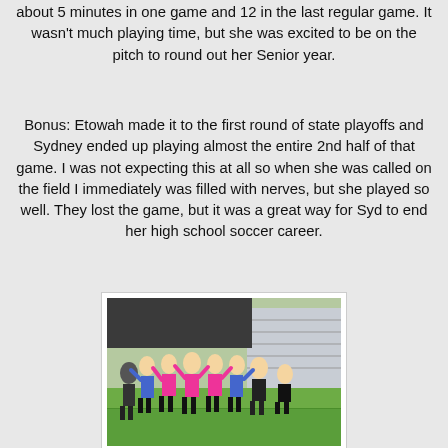about 5 minutes in one game and 12 in the last regular game. It wasn't much playing time, but she was excited to be on the pitch to round out her Senior year.
Bonus: Etowah made it to the first round of state playoffs and Sydney ended up playing almost the entire 2nd half of that game. I was not expecting this at all so when she was called on the field I immediately was filled with nerves, but she played so well. They lost the game, but it was a great way for Syd to end her high school soccer career.
[Figure (photo): Group photo of female soccer players in pink and blue uniforms posing on a soccer field with bleachers in the background]